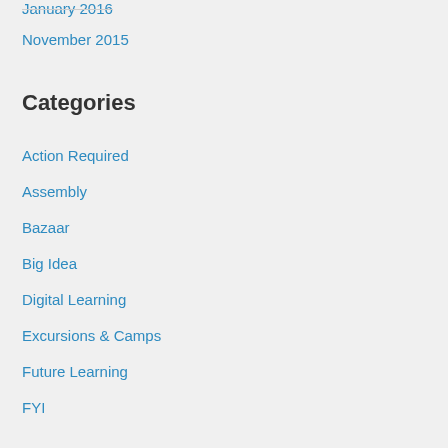January 2016
November 2015
Categories
Action Required
Assembly
Bazaar
Big Idea
Digital Learning
Excursions & Camps
Future Learning
FYI
Happenings
Home